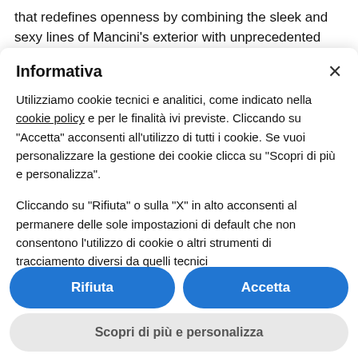that redefines openness by combining the sleek and sexy lines of Mancini's exterior with unprecedented
Informativa
Utilizziamo cookie tecnici e analitici, come indicato nella cookie policy e per le finalità ivi previste. Cliccando su "Accetta" acconsenti all'utilizzo di tutti i cookie. Se vuoi personalizzare la gestione dei cookie clicca su "Scopri di più e personalizza".
Cliccando su "Rifiuta" o sulla "X" in alto acconsenti al permanere delle sole impostazioni di default che non consentono l'utilizzo di cookie o altri strumenti di tracciamento diversi da quelli tecnici
Rifiuta
Accetta
Scopri di più e personalizza